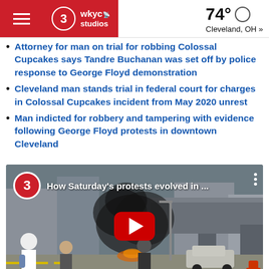WKYC Studios | 74° Cleveland, OH »
Attorney for man on trial for robbing Colossal Cupcakes says Tandre Buchanan was set off by police response to George Floyd demonstration
Cleveland man stands trial in federal court for charges in Colossal Cupcakes incident from May 2020 unrest
Man indicted for robbery and tampering with evidence following George Floyd protests in downtown Cleveland
[Figure (screenshot): YouTube video thumbnail showing street scene during George Floyd protests in Cleveland with smoke, titled 'How Saturday's protests evolved in ...']